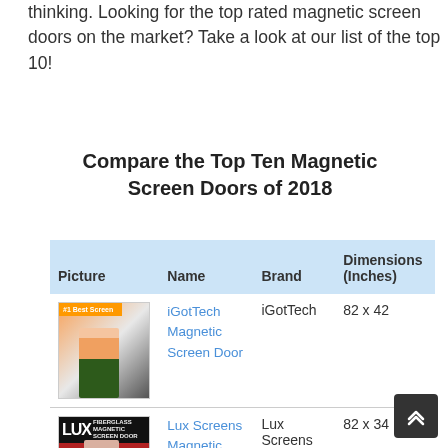thinking. Looking for the top rated magnetic screen doors on the market? Take a look at our list of the top 10!
Compare the Top Ten Magnetic Screen Doors of 2018
| Picture | Name | Brand | Dimensions (Inches) |
| --- | --- | --- | --- |
| [iGotTech product image] | iGotTech Magnetic Screen Door | iGotTech | 82 x 42 |
| [Lux Screens product image] | Lux Screens Magnetic Screen | Lux Screens | 82 x 34 |